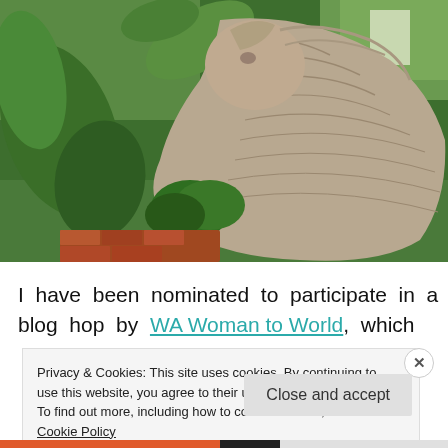[Figure (photo): Outdoor photo of a stone carved animal statue (possibly a horse or mythical creature) with textured stone surface, surrounded by lush green tropical plants and foliage in bright sunlight.]
I have been nominated to participate in a blog hop by WA Woman to World, which
Privacy & Cookies: This site uses cookies. By continuing to use this website, you agree to their use.
To find out more, including how to control cookies, see here: Cookie Policy
Close and accept